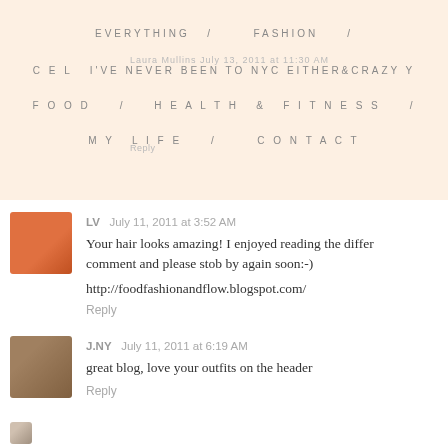EVERYTHING / FASHION / CELEBRITY / BEAUTY / FOOD / HEALTH & FITNESS / MY LIFE / CONTACT
Laura Mullins July 13, 2011 at 11:30 AM
I've never been to nyc either&crazy
Reply
LV  July 11, 2011 at 3:52 AM
Your hair looks amazing! I enjoyed reading the differ... comment and please stob by again soon:-)
http://foodfashionandflow.blogspot.com/
Reply
J.NY  July 11, 2011 at 6:19 AM
great blog, love your outfits on the header
Reply
Josie  July 11, 2011 at 6:45 AM
I love your haircut, doll -- super cute! And I also am qui...